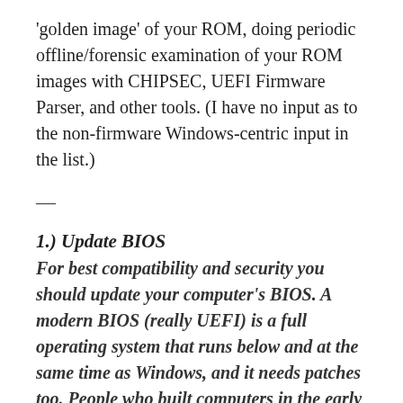'golden image' of your ROM, doing periodic offline/forensic examination of your ROM images with CHIPSEC, UEFI Firmware Parser, and other tools. (I have no input as to the non-firmware Windows-centric input in the list.)
—
1.) Update BIOS
For best compatibility and security you should update your computer's BIOS. A modern BIOS (really UEFI) is a full operating system that runs below and at the same time as Windows, and it needs patches too. People who built computers in the early 2000's will tell you BIOS updates are risky, and they were, but not anymore. They deliver fixes, features, and security updates you won't hear about